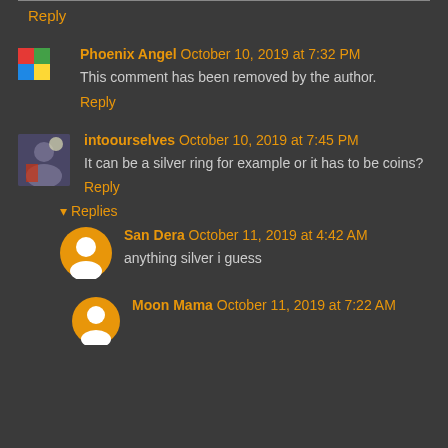Reply
Phoenix Angel October 10, 2019 at 7:32 PM
This comment has been removed by the author.
Reply
intoourselves October 10, 2019 at 7:45 PM
It can be a silver ring for example or it has to be coins?
Reply
Replies
San Dera October 11, 2019 at 4:42 AM
anything silver i guess
Moon Mama October 11, 2019 at 7:22 AM